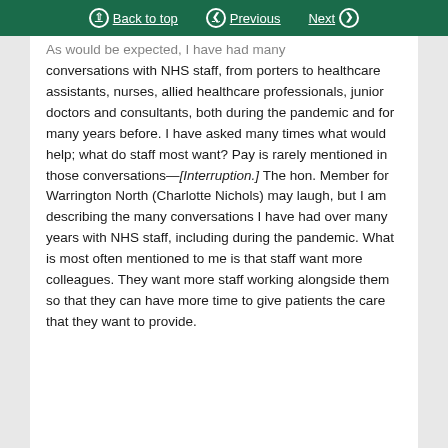Back to top | Previous | Next
As would be expected, I have had many conversations with NHS staff, from porters to healthcare assistants, nurses, allied healthcare professionals, junior doctors and consultants, both during the pandemic and for many years before. I have asked many times what would help; what do staff most want? Pay is rarely mentioned in those conversations—[Interruption.] The hon. Member for Warrington North (Charlotte Nichols) may laugh, but I am describing the many conversations I have had over many years with NHS staff, including during the pandemic. What is most often mentioned to me is that staff want more colleagues. They want more staff working alongside them so that they can have more time to give patients the care that they want to provide.